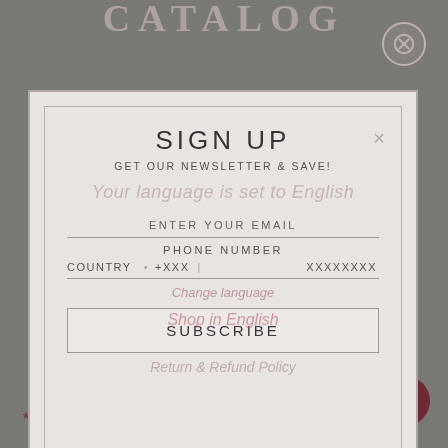CATALOG
[Figure (screenshot): Close button (X) circle in top right corner of background]
SIGN UP
GET OUR NEWSLETTER & SAVE!
Your language is set to English
ENTER YOUR EMAIL
PHONE NUMBER
Shop in English
COUNTRY  •  +XXX  |  XXXXXXXX
Change language
SUBSCRIBE
Return & Refund Policy
Powered by
omnisend
Chat with us
* International Shipping